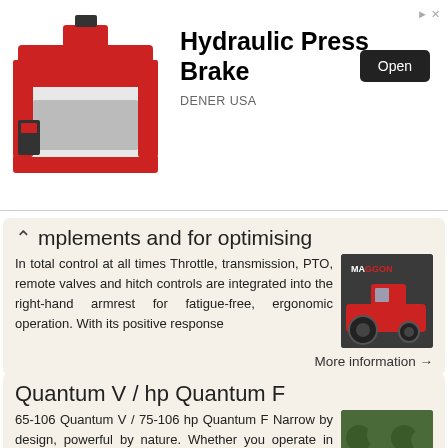[Figure (illustration): Advertisement banner for Hydraulic Press Brake by DENER USA, showing a red and white CNC machine on the left, with bold text 'Hydraulic Press Brake', an 'Open' button, and 'DENER USA' label.]
implements and for optimising
In total control at all times Throttle, transmission, PTO, remote valves and hitch controls are integrated into the right-hand armrest for fatigue-free, ergonomic operation. With its positive response
[Figure (photo): Red Massey Ferguson tractor photo thumbnail]
More information →
Quantum V / hp Quantum F
65-106 Quantum V / 75-106 hp Quantum F Narrow by design, powerful by nature. Whether you operate in close planted vineyards, with bush grown fruits or wider spaced orchard trees, Quantum Specialty tractors
[Figure (photo): Quantum tractor in orchard/vineyard photo thumbnail]